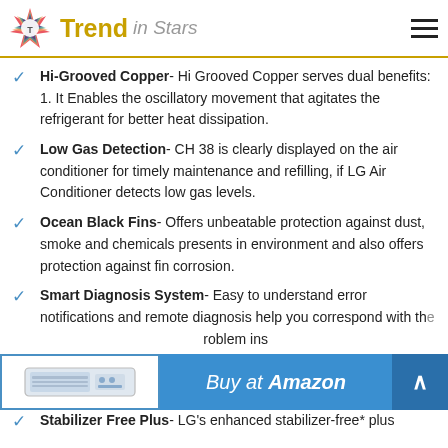Trend in Stars
Hi-Grooved Copper- Hi Grooved Copper serves dual benefits: 1. It Enables the oscillatory movement that agitates the refrigerant for better heat dissipation.
Low Gas Detection- CH 38 is clearly displayed on the air conditioner for timely maintenance and refilling, if LG Air Conditioner detects low gas levels.
Ocean Black Fins- Offers unbeatable protection against dust, smoke and chemicals presents in environment and also offers protection against fin corrosion.
Smart Diagnosis System- Easy to understand error notifications and remote diagnosis help you correspond with th...roblem ins...
[Figure (other): Buy at Amazon banner with product image and arrow button]
Stabilizer Free Plus- LG's enhanced stabilizer-free* plus